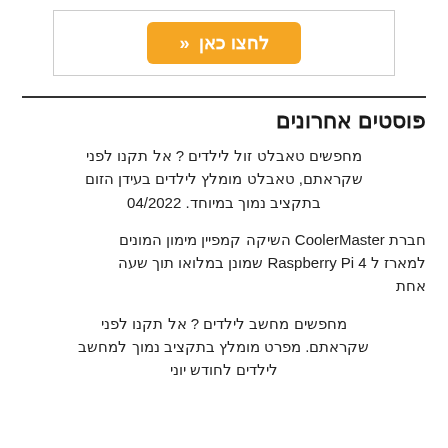[Figure (other): Orange button labeled 'לחצו כאן' (click here) with double chevron, inside a bordered white box]
פוסטים אחרונים
מחפשים טאבלט זול לילדים ? אל תקנו לפני שקראתם, טאבלט מומלץ לילדים בעידן הזום בתקציב נמוך במיוחד. 04/2022
חברת CoolerMaster השיקה קמפיין מימון המונים למארז ל Raspberry Pi 4 שמונן במלואו תוך שעה אחת
מחפשים מחשב לילדים ? אל תקנו לפני שקראתם. מפרט מומלץ בתקציב נמוך למחשב לילדים לחודש יוני